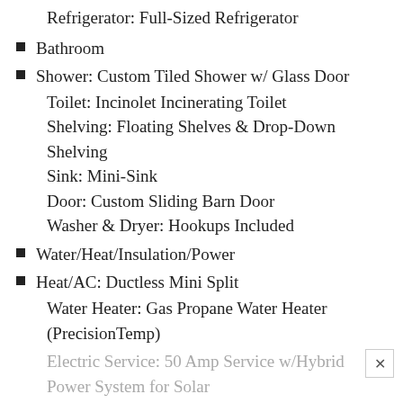Refrigerator: Full-Sized Refrigerator
Bathroom
Shower: Custom Tiled Shower w/ Glass Door
Toilet: Incinolet Incinerating Toilet
Shelving: Floating Shelves & Drop-Down Shelving
Sink: Mini-Sink
Door: Custom Sliding Barn Door
Washer & Dryer: Hookups Included
Water/Heat/Insulation/Power
Heat/AC: Ductless Mini Split
Water Heater: Gas Propane Water Heater (PrecisionTemp)
Electric Service: 50 Amp Service w/Hybrid Power System for Solar